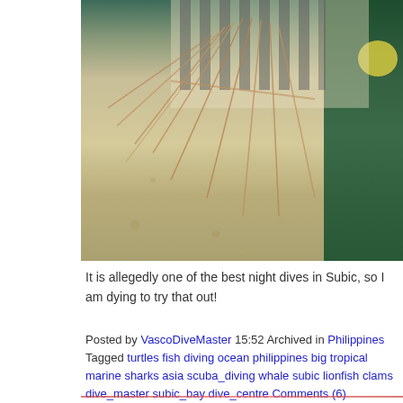[Figure (photo): Close-up underwater photo of a lionfish with spines visible against a sandy ocean floor background, with green coral/plant visible on the right side]
It is allegedly one of the best night dives in Subic, so I am dying to try that out!
Posted by VascoDiveMaster 15:52 Archived in Philippines Tagged turtles fish diving ocean philippines big tropical marine sharks asia scuba_diving whale subic lionfish clams dive_master subic_bay dive_centre Comments (6)
(Entries 1 - 4 of 4) Page [1]
A member of Travellerspoint
© Authors: VascoDiveMaster